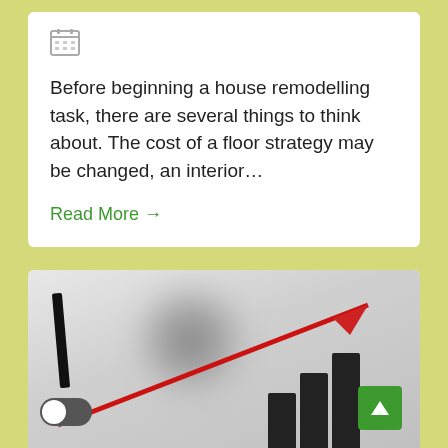[Figure (illustration): Calendar icon at top of card]
Before beginning a house remodelling task, there are several things to think about. The cost of a floor strategy may be changed, an interior...
Read More →
[Figure (photo): Photo showing a blurred person's head with a red upward arrow chart graphic, bar chart elements, a toggle switch, a black marker pen, and a green back-to-top button in the corner.]